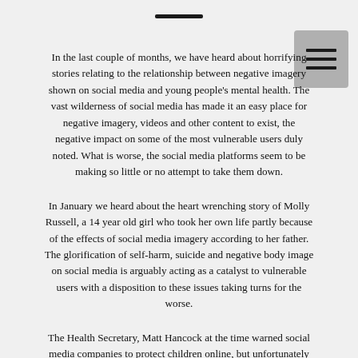In the last couple of months, we have heard about horrifying stories relating to the relationship between negative imagery shown on social media and young people's mental health. The vast wilderness of social media has made it an easy place for negative imagery, videos and other content to exist, the negative impact on some of the most vulnerable users duly noted. What is worse, the social media platforms seem to be making so little or no attempt to take them down.
In January we heard about the heart wrenching story of Molly Russell, a 14 year old girl who took her own life partly because of the effects of social media imagery according to her father. The glorification of self-harm, suicide and negative body image on social media is arguably acting as a catalyst to vulnerable users with a disposition to these issues taking turns for the worse.
The Health Secretary, Matt Hancock at the time warned social media companies to protect children online, but unfortunately social media companies don't seem to be listening.